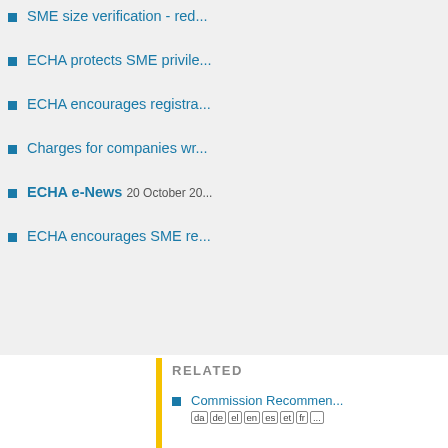SME size verification - red...
ECHA protects SME privile...
ECHA encourages registra...
Charges for companies wr...
ECHA e-News 20 October 20...
ECHA encourages SME re...
RELATED
Commission Recommen... da de el en es et fr ...
Management Board dec... bg cs da de el en es e...
Management Board dec... bg cs da de el en es e...
Management Board dec... bg cs da de el en es e...
Fee Regulation (EC) No... bg cs da de el en es e...